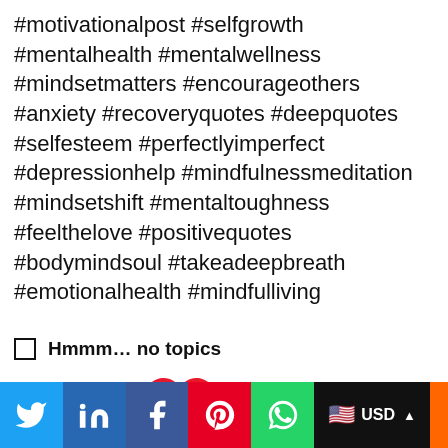#motivationalpost #selfgrowth #mentalhealth #mentalwellness #mindsetmatters #encourageothers #anxiety #recoveryquotes #deepquotes #selfesteem #perfectlyimperfect #depressionhelp #mindfulnessmeditation #mindsetshift #mentaltoughness #feelthelove #positivequotes #bodymindsoul #takeadeepbreath #emotionalhealth #mindfulliving
☐ Hmmm… no topics
[Figure (illustration): Red heart icon]
Twitter | LinkedIn | Facebook | Pinterest | WhatsApp | USD